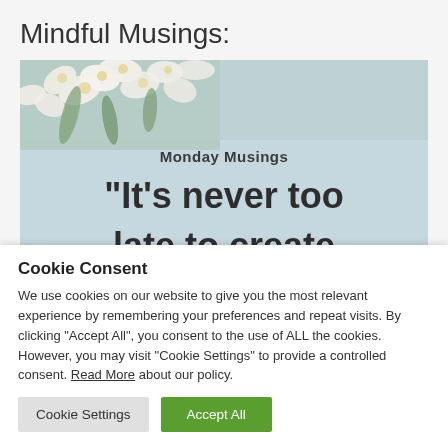Mindful Musings:
[Figure (photo): Monday Musings inspirational quote image with white flowers on light blue background. Text reads: Monday Musings, "It's never too late to create]
Cookie Consent
We use cookies on our website to give you the most relevant experience by remembering your preferences and repeat visits. By clicking "Accept All", you consent to the use of ALL the cookies. However, you may visit "Cookie Settings" to provide a controlled consent. Read More about our policy.